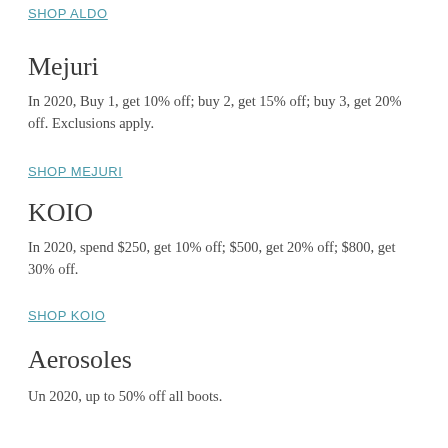SHOP ALDO
Mejuri
In 2020, Buy 1, get 10% off; buy 2, get 15% off; buy 3, get 20% off. Exclusions apply.
SHOP MEJURI
KOIO
In 2020, spend $250, get 10% off; $500, get 20% off; $800, get 30% off.
SHOP KOIO
Aerosoles
Un 2020, up to 50% off all boots.